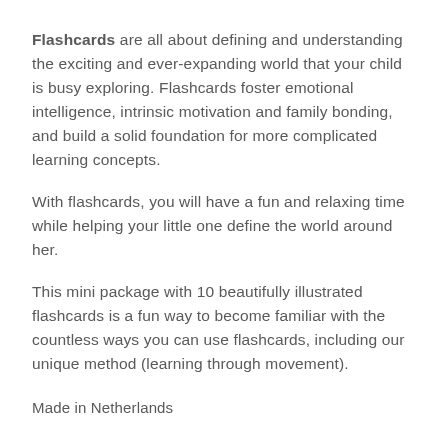Flashcards are all about defining and understanding the exciting and ever-expanding world that your child is busy exploring. Flashcards foster emotional intelligence, intrinsic motivation and family bonding, and build a solid foundation for more complicated learning concepts.
With flashcards, you will have a fun and relaxing time while helping your little one define the world around her.
This mini package with 10 beautifully illustrated flashcards is a fun way to become familiar with the countless ways you can use flashcards, including our unique method (learning through movement).
Made in Netherlands